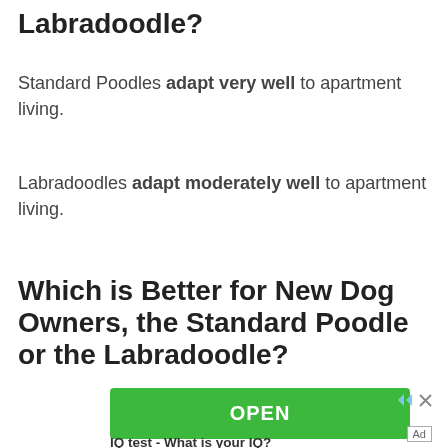Labradoodle?
Standard Poodles adapt very well to apartment living.
Labradoodles adapt moderately well to apartment living.
Which is Better for New Dog Owners, the Standard Poodle or the Labradoodle?
[Figure (other): Green OPEN button advertisement with ad icon arrows and caption 'IQ test - What is your IQ?']
IQ test - What is your IQ?
Ad